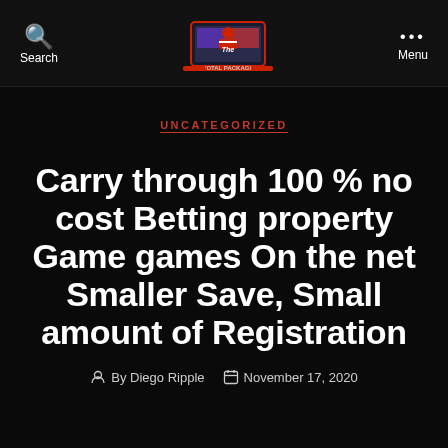Search | The 'Otal Package | Menu
UNCATEGORIZED
Carry through 100 % no cost Betting property Game games On the net Smaller Save, Small amount of Registration
By Diego Ripple   November 17, 2020